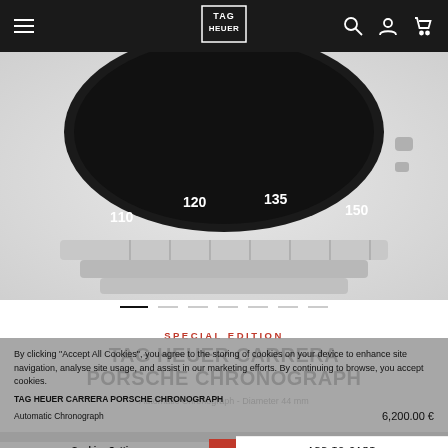TAG HEUER navigation bar with hamburger menu, logo, search, account, and cart icons
[Figure (photo): Close-up of TAG Heuer Carrera Porsche Chronograph watch showing the bezel with tachymeter markings (110, 120, 135, 150) and metal bracelet on a light grey background]
[Figure (other): Carousel indicator dots — first dot active (dark), subsequent dots light grey]
SPECIAL EDITION
TAG HEUER CARRERA PORSCHE CHRONOGRAPH
Automatic Chronograph - Diameter 44 mm
By clicking "Accept All Cookies", you agree to the storing of cookies on your device to enhance site navigation, analyse site usage, and assist in our marketing efforts. By continuing to browse, you accept cookies.
TAG HEUER CARRERA PORSCHE CHRONOGRAPH
Automatic Chronograph
6,200.00 €
Cookies Settings
Accept All Cookies
ADD TO CART